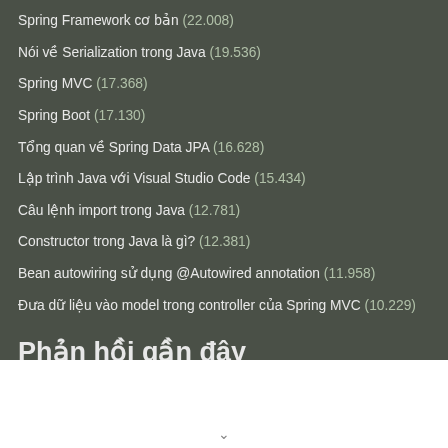Spring Framework cơ bản (22.008)
Nói về Serialization trong Java (19.536)
Spring MVC (17.368)
Spring Boot (17.130)
Tổng quan về Spring Data JPA (16.628)
Lập trình Java với Visual Studio Code (15.434)
Câu lệnh import trong Java (12.781)
Constructor trong Java là gì? (12.381)
Bean autowiring sử dụng @Autowired annotation (11.958)
Đưa dữ liệu vào model trong controller của Spring MVC (10.229)
Phản hồi gần đây